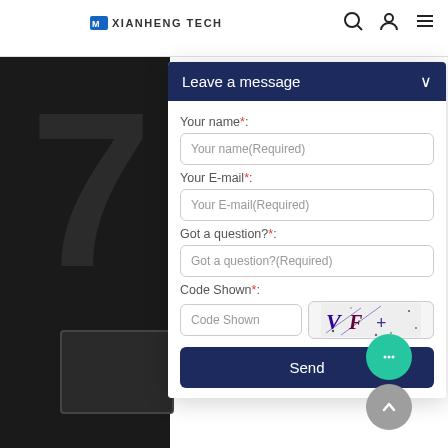[Figure (screenshot): Dark background panel showing a large watermark number and a monitor illustration]
XIANHENG TECH
Leave a message
Your name*:
Your name(Required)
Your E-mail*:
Your E-mail(Required)
Got a question?*:
Got a question?(Required)
Code Shown*:
Code Shown
Send